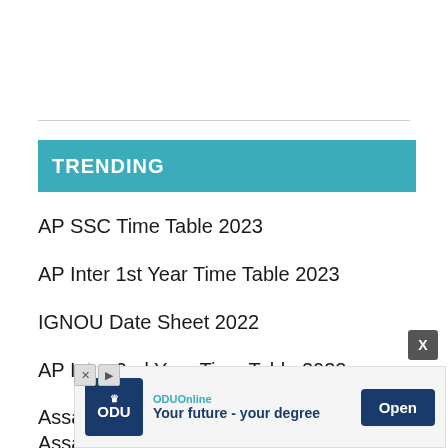TRENDING
AP SSC Time Table 2023
AP Inter 1st Year Time Table 2023
IGNOU Date Sheet 2022
AP Inter 2nd Year Time Table 2023
Assam HSLC Routine 2023
Assa...
[Figure (other): Advertisement banner for ODUOnline: 'Your future - your degree' with Open button]